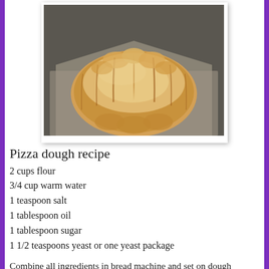[Figure (photo): A pumpkin-shaped bread dough ball on a baking sheet, golden brown color, top-down view showing ridged sections resembling a pumpkin]
Pizza dough recipe
2 cups flour
3/4 cup warm water
1 teaspoon salt
1 tablespoon oil
1 tablespoon sugar
1 1/2 teaspoons yeast or one yeast package
Combine all ingredients in bread machine and set on dough setting. If making by hand combine all ingredients in a bowl and